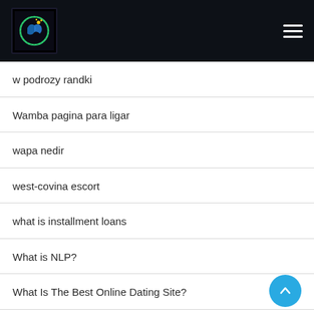[Figure (logo): Website logo with blue circular icon and green elements on dark background]
w podrozy randki
Wamba pagina para ligar
wapa nedir
west-covina escort
what is installment loans
What is NLP?
What Is The Best Online Dating Site?